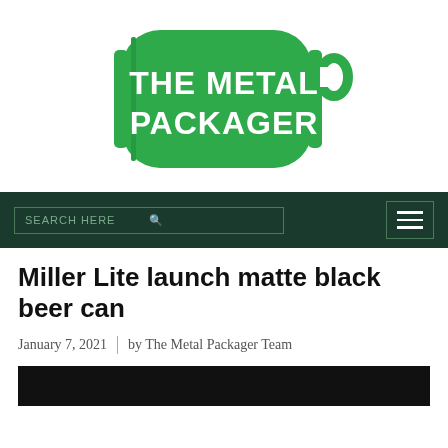[Figure (logo): The Metal Packager logo — green can shape with white bold text reading THE METAL PACKAGER]
SEARCH HERE | hamburger menu button
Miller Lite launch matte black beer can
January 7, 2021 | by The Metal Packager Team
[Figure (photo): Dark/black image strip at the bottom of the page, beginning of article hero image]